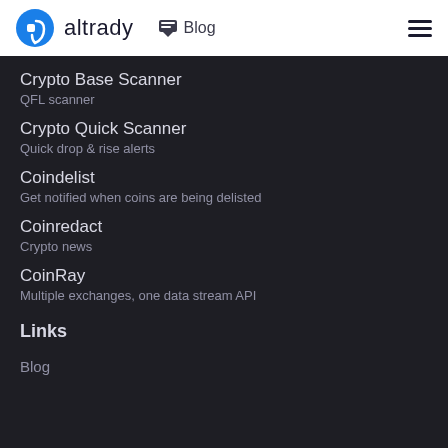altrady  Blog
Crypto Base Scanner
QFL scanner
Crypto Quick Scanner
Quick drop & rise alerts
Coindelist
Get notified when coins are being delisted
Coinredact
Crypto news
CoinRay
Multiple exchanges, one data stream API
Links
Blog